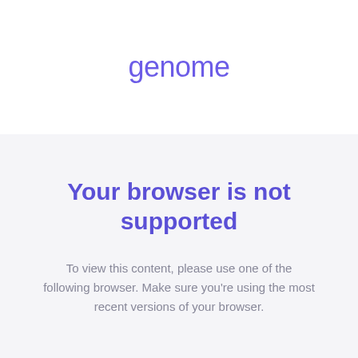genome
Your browser is not supported
To view this content, please use one of the following browser. Make sure you're using the most recent versions of your browser.